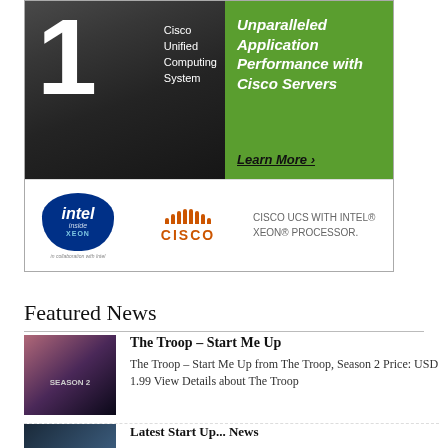[Figure (advertisement): Cisco UCS advertisement banner with Intel Xeon processor. Top half shows a large white '1' over dark background with text 'Cisco Unified Computing System' and green panel with italic bold text 'Unparalleled Application Performance with Cisco Servers' and 'Learn More ›'. Bottom half shows Intel Inside Xeon logo, Cisco logo, and text 'CISCO UCS WITH INTEL® XEON® PROCESSOR.']
Featured News
The Troop – Start Me Up
The Troop – Start Me Up from The Troop, Season 2 Price: USD 1.99 View Details about The Troop
Latest Start Up... News